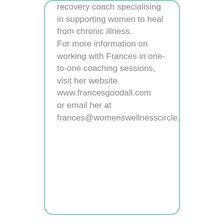recovery coach specialising in supporting women to heal from chronic illness. For more information on working with Frances in one-to-one coaching sessions, visit her website www.francesgoodall.com or email her at frances@womenswellnesscircle.com